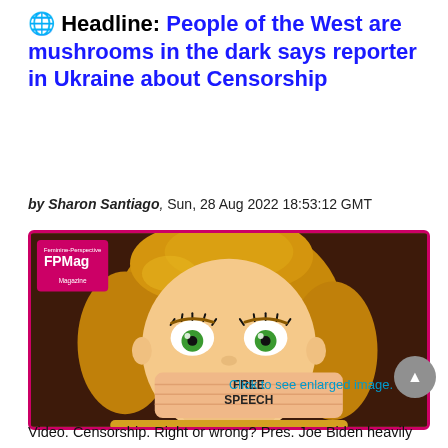🌐 Headline: People of the West are mushrooms in the dark says reporter in Ukraine about Censorship
by Sharon Santiago, Sun, 28 Aug 2022 18:53:12 GMT
[Figure (illustration): Cartoon illustration of a blonde woman with green eyes whose mouth is covered by a hand labeled 'FREE SPEECH', representing censorship. An FPMag (Feminine Perspective Magazine) logo badge is in the top-left corner.]
Click to see enlarged image.
Video. Censorship. Right or wrong? Pres. Joe Biden heavily